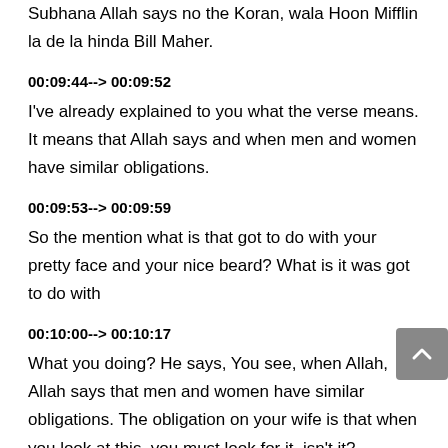Subhana Allah says no the Koran, wala Hoon Mifflin la de la hinda Bill Maher.
00:09:44--> 00:09:52
I've already explained to you what the verse means. It means that Allah says and when men and women have similar obligations.
00:09:53--> 00:09:59
So the mention what is that got to do with your pretty face and your nice beard? What is it was got to do with
00:10:00--> 00:10:17
What you doing? He says, You see, when Allah, Allah says that men and women have similar obligations. The obligation on your wife is that when you look at this, you must look for it, isn't it? Someone says